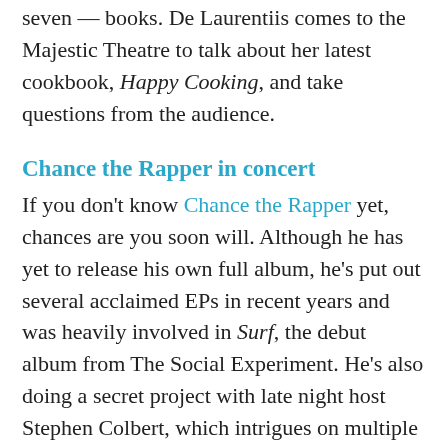seven — books. De Laurentiis comes to the Majestic Theatre to talk about her latest cookbook, Happy Cooking, and take questions from the audience.
Chance the Rapper in concert
If you don't know Chance the Rapper yet, chances are you soon will. Although he has yet to release his own full album, he's put out several acclaimed EPs in recent years and was heavily involved in Surf, the debut album from The Social Experiment. He's also doing a secret project with late night host Stephen Colbert, which intrigues on multiple levels. He'll perform at South Side Ballroom alongside D.R.A.M., Towkio, and Metro Boomin.
Saturday, November 14
Art Con 11